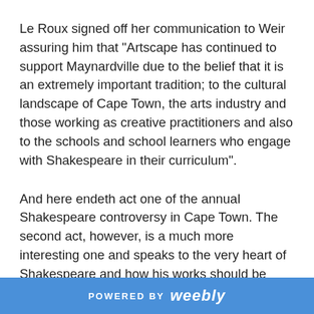Le Roux signed off her communication to Weir assuring him that “Artscape has continued to support Maynardville due to the belief that it is an extremely important tradition; to the cultural landscape of Cape Town, the arts industry and those working as creative practitioners and also to the schools and school learners who engage with Shakespeare in their curriculum”.
And here endeth act one of the annual Shakespeare controversy in Cape Town. The second act, however, is a much more interesting one and speaks to the very heart of Shakespeare and how his works should be presented in the 21st Century.
The audiences who have attended the annual Maynardville Shakespeare - which Chris Thurman,
POWERED BY weebly